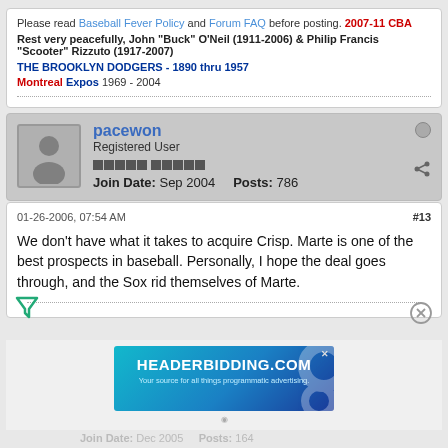Please read Baseball Fever Policy and Forum FAQ before posting. 2007-11 CBA
Rest very peacefully, John “Buck” O’Neil (1911-2006) & Philip Francis “Scooter” Rizzuto (1917-2007)
THE BROOKLYN DODGERS - 1890 thru 1957
Montreal Expos 1969 - 2004
pacewon
Registered User
Join Date: Sep 2004   Posts: 786
01-26-2006, 07:54 AM
#13
We don't have what it takes to acquire Crisp. Marte is one of the best prospects in baseball. Personally, I hope the deal goes through, and the Sox rid themselves of Marte.
[Figure (other): HEADERBIDDING.COM advertisement banner - Your source for all things programmatic advertising.]